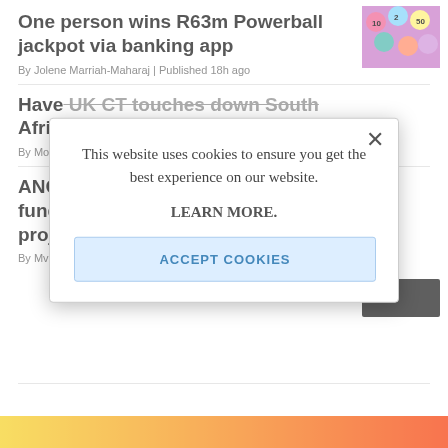One person wins R63m Powerball jackpot via banking app
By Jolene Marriah-Maharaj | Published 18h ago
[Figure (photo): Colorful lottery balls]
Have UK CT touches down South Africa
By Mo
ANC fund proj
By Mv
This website uses cookies to ensure you get the best experience on our website.

LEARN MORE.

ACCEPT COOKIES